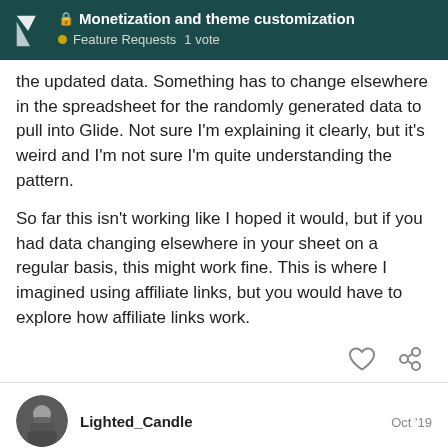🔒 Monetization and theme customization • Feature Requests  1 vote
the updated data. Something has to change elsewhere in the spreadsheet for the randomly generated data to pull into Glide. Not sure I'm explaining it clearly, but it's weird and I'm not sure I'm quite understanding the pattern.
So far this isn't working like I hoped it would, but if you had data changing elsewhere in your sheet on a regular basis, this might work fine. This is where I imagined using affiliate links, but you would have to explore how affiliate links work.
Lighted_Candle  Oct '19
Don't use random generator, instead
8 / 14